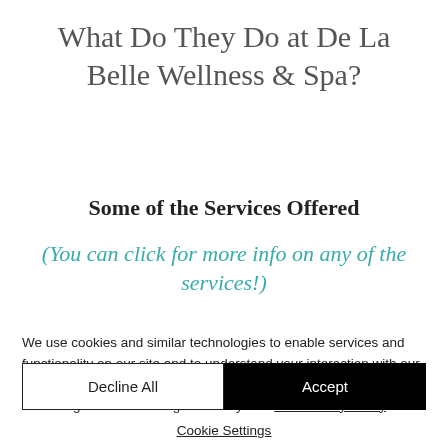What Do They Do at De La Belle Wellness & Spa?
Some of the Services Offered
(You can click for more info on any of the services!)
We use cookies and similar technologies to enable services and functionality on our site and to understand your interaction with our service. By clicking on accept, you agree to our use of such technologies for marketing and analytics.  See Privacy Policy
Decline All
Accept
Cookie Settings